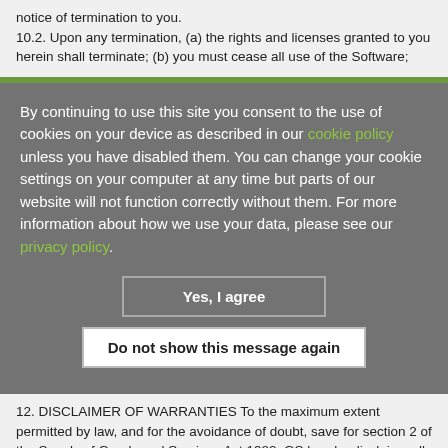notice of termination to you.
10.2. Upon any termination, (a) the rights and licenses granted to you herein shall terminate; (b) you must cease all use of the Software;
By continuing to use this site you consent to the use of cookies on your device as described in our cookie policy unless you have disabled them. You can change your cookie settings on your computer at any time but parts of our website will not function correctly without them. For more information about how we use your data, please see our privacy policy.
Yes, I agree
Do not show this message again
12. DISCLAIMER OF WARRANTIES To the maximum extent permitted by law, and for the avoidance of doubt, save for section 2 of the Supply of Goods and Services Act 1982, GS hereby disclaims all implied warranties with regard to the Application. The